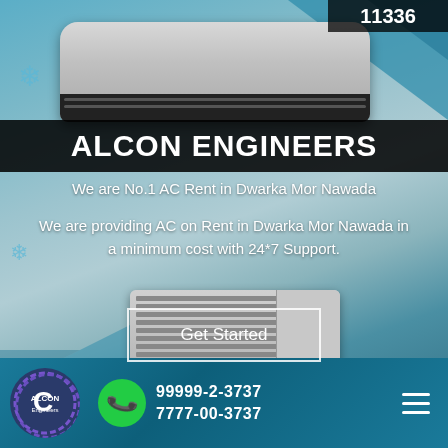[Figure (infographic): Alcon Engineers AC rental service advertisement with split AC unit, window AC unit, decorative snowflakes, teal diagonal background, and company branding]
ALCON ENGINEERS
We are No.1 AC Rent in Dwarka Mor Nawada
We are providing AC on Rent in Dwarka Mor Nawada in a minimum cost with 24*7 Support.
Get Started
Alcon Engineers | 99999-2-3737 | 7777-00-3737